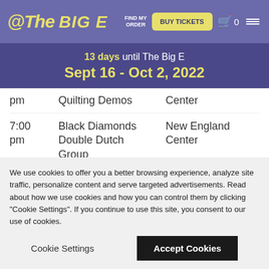@The BIG E — FIND MY ORDER | BUY TICKETS | Cart 0 | Menu
13 days until The Big E
Sept 16 - Oct 2, 2022
| Time | Event | Venue |
| --- | --- | --- |
| pm | Quilting Demos | Center |
| 7:00 pm | Black Diamonds Double Dutch Group | New England Center |
| 7:00 pm | 4-H Goat Milkout | Mallary Arena 2 |
Saturday, October 1, 2022
We use cookies to offer you a better browsing experience, analyze site traffic, personalize content and serve targeted advertisements. Read about how we use cookies and how you can control them by clicking "Cookie Settings". If you continue to use this site, you consent to our use of cookies.
Cookie Settings    Accept Cookies